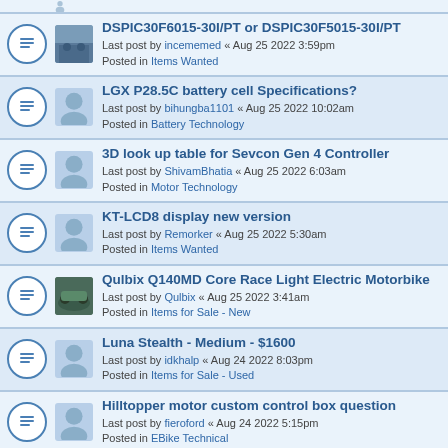DSPIC30F6015-30I/PT or DSPIC30F5015-30I/PT
Last post by incememed « Aug 25 2022 3:59pm
Posted in Items Wanted
LGX P28.5C battery cell Specifications?
Last post by bihungba1101 « Aug 25 2022 10:02am
Posted in Battery Technology
3D look up table for Sevcon Gen 4 Controller
Last post by ShivamBhatia « Aug 25 2022 6:03am
Posted in Motor Technology
KT-LCD8 display new version
Last post by Remorker « Aug 25 2022 5:30am
Posted in Items Wanted
Qulbix Q140MD Core Race Light Electric Motorbike
Last post by Qulbix « Aug 25 2022 3:41am
Posted in Items for Sale - New
Luna Stealth - Medium - $1600
Last post by idkhalp « Aug 24 2022 8:03pm
Posted in Items for Sale - Used
Hilltopper motor custom control box question
Last post by fieroford « Aug 24 2022 5:15pm
Posted in EBike Technical